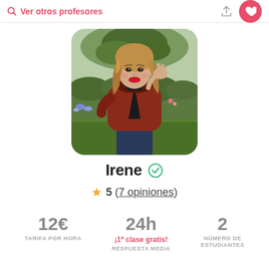Ver otros profesores
[Figure (photo): Profile photo of Irene, a young woman with long wavy hair wearing a red coat and black turtleneck, standing in a garden with trees and flowers]
Irene ✓
★ 5 (7 opiniones)
12€  24h  2
¡1ª clase gratis!
TARIFA POR HORA  RESPUESTA MEDIA  NÚMERO DE ESTUDIANTES